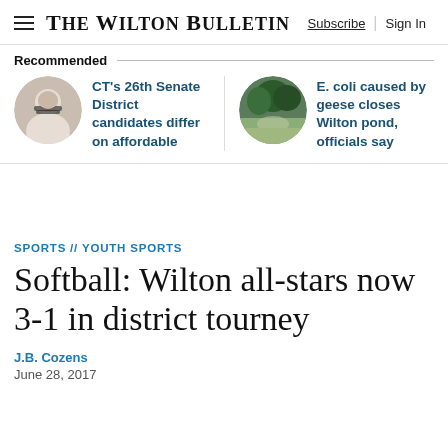The Wilton Bulletin
Recommended
CT’s 26th Senate District candidates differ on affordable
E. coli caused by geese closes Wilton pond, officials say
SPORTS // YOUTH SPORTS
Softball: Wilton all-stars now 3-1 in district tourney
J.B. Cozens
June 28, 2017